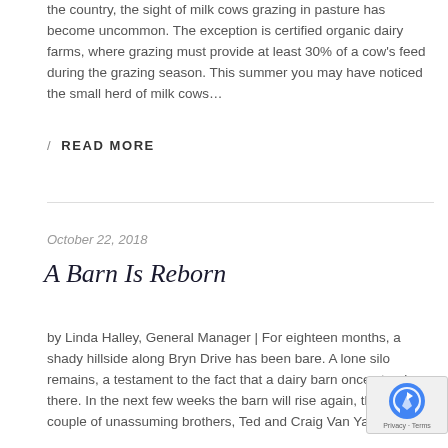the country, the sight of milk cows grazing in pasture has become uncommon. The exception is certified organic dairy farms, where grazing must provide at least 30% of a cow's feed during the grazing season. This summer you may have noticed the small herd of milk cows…
/ READ MORE
October 22, 2018
A Barn Is Reborn
by Linda Halley, General Manager | For eighteen months, a shady hillside along Bryn Drive has been bare. A lone silo remains, a testament to the fact that a dairy barn once stood there. In the next few weeks the barn will rise again, thanks to a couple of unassuming brothers, Ted and Craig Van Yalin...